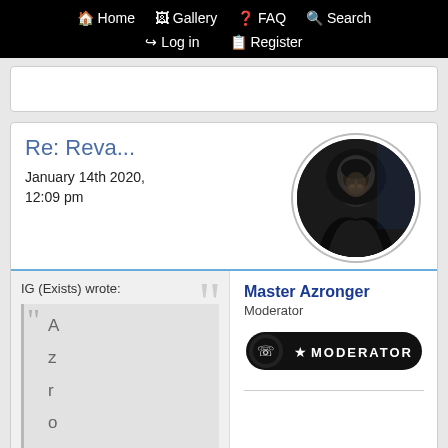Home  Gallery  FAQ  Search  Log in  Register
Re: Reva...
January 14th 2020, 12:09 pm
[Figure (photo): Circular avatar showing a dark hooded figure (Emperor Palpatine / Sith Lord) against a dark background]
IG (Exists) wrote:
A
z
r
o
n
Master Azronger
Moderator
[Figure (other): Moderator badge: black oval with star icon and text MODERATOR in white on black background]